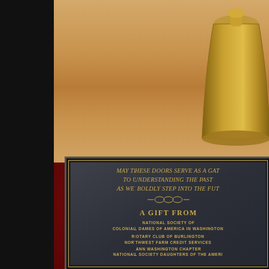[Figure (photo): A decorative plaque mounted on a wooden shelf with a brass bell visible at top right and red fabric on the left side. The plaque has a dark blue-gray background with gold text and a gold border. The text on the plaque reads: 'MAY THESE DOORS SERVE AS A GATEWAY TO UNDERSTANDING THE PAST AS WE BOLDLY STEP INTO THE FUTURE' followed by a decorative divider, then 'A GIFT FROM' and donor names: 'NATIONAL SOCIETY OF COLONIAL DAMES OF AMERICA IN WASHINGTON', 'ROTARY CLUB OF BURLINGTON', 'NORTHWEST FARM CREDIT SERVICES', 'ANN WASHINGTON CHAPTER NATIONAL SOCIETY DAUGHTERS OF THE AMERICAN...']